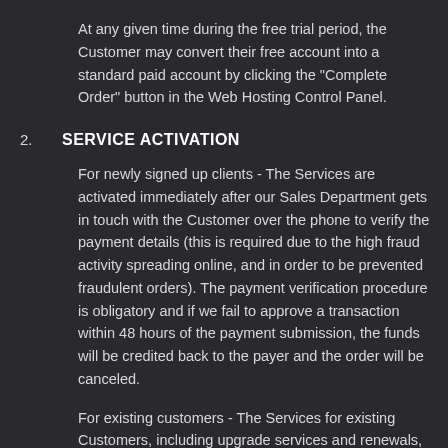At any given time during the free trial period, the Customer may convert their free account into a standard paid account by clicking the "Complete Order" button in the Web Hosting Control Panel.
2. SERVICE ACTIVATION
For newly signed up clients - The Services are activated immediately after our Sales Department gets in touch with the Customer over the phone to verify the payment details (this is required due to the high fraud activity spreading online, and in order to be prevented fraudulent orders). The payment verification procedure is obligatory and if we fail to approve a transaction within 48 hours of the payment submission, the funds will be credited back to the payer and the order will be canceled.
For existing customers - The Services for existing Customers, including upgrade services and renewals, are